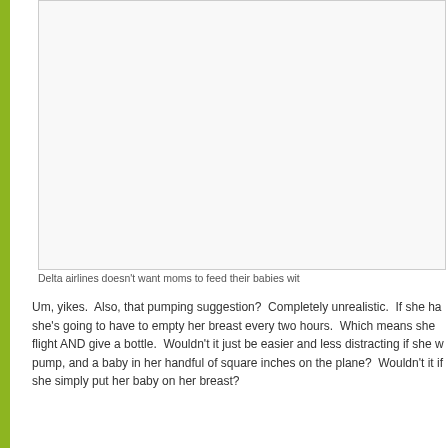[Figure (photo): Image box showing a scene related to Delta airlines and breastfeeding]
Delta airlines doesn't want moms to feed their babies wit
Um, yikes. Also, that pumping suggestion? Completely unrealistic. If she ha she's going to have to empty her breast every two hours. Which means she flight AND give a bottle. Wouldn't it just be easier and less distracting if she w pump, and a baby in her handful of square inches on the plane? Wouldn't it if she simply put her baby on her breast?
This is why breastfeeding needs to be normalized, as silly as that may sound against mothers, regardless of how they feed their children, needs to stop. T Delta has run into issues violating laws protecting breastfeeding, way back in that refused to cover to feed her daughter off her flight. She sued and they p learned. The Georgia based airline seems to be unaware of the law protectin home state, but the majority of the country as well:
Georgia Code – Health – Title 31, Section 31-1-9
The breast-feeding of a baby is an important and basic act of nurture w